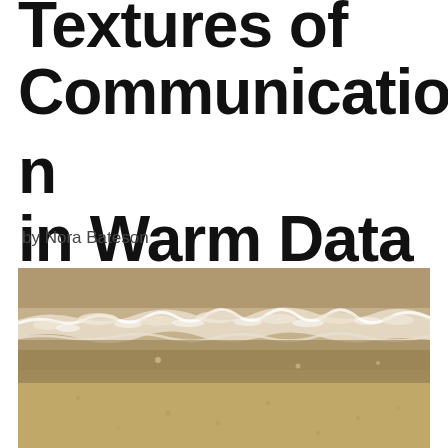Textures of Communication in Warm Data
by Nora Bateson
[Figure (photo): Aerial or close-up view of ocean waves meeting a sandy beach, showing white foam of waves on wet sandy brown shore. Warm sepia-toned photograph.]